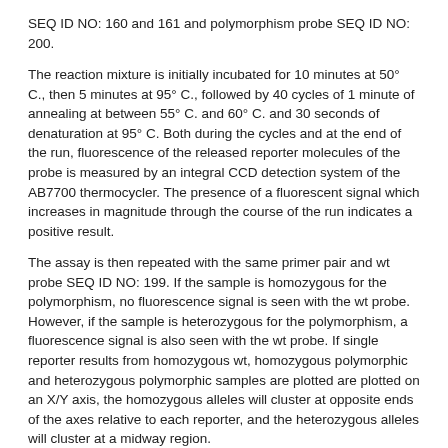SEQ ID NO: 160 and 161 and polymorphism probe SEQ ID NO: 200.
The reaction mixture is initially incubated for 10 minutes at 50° C., then 5 minutes at 95° C., followed by 40 cycles of 1 minute of annealing at between 55° C. and 60° C. and 30 seconds of denaturation at 95° C. Both during the cycles and at the end of the run, fluorescence of the released reporter molecules of the probe is measured by an integral CCD detection system of the AB7700 thermocycler. The presence of a fluorescent signal which increases in magnitude through the course of the run indicates a positive result.
The assay is then repeated with the same primer pair and wt probe SEQ ID NO: 199. If the sample is homozygous for the polymorphism, no fluorescence signal is seen with the wt probe. However, if the sample is heterozygous for the polymorphism, a fluorescence signal is also seen with the wt probe. If single reporter results from homozygous wt, homozygous polymorphic and heterozygous polymorphic samples are plotted are plotted on an X/Y axis, the homozygous alleles will cluster at opposite ends of the axes relative to each reporter, and the heterozygous alleles will cluster at a midway region.
EXAMPLE 4
DNA Array Method for Identifying Polymorphisms for Identifying Multiple Polymorphisms
a) PCR Amplification